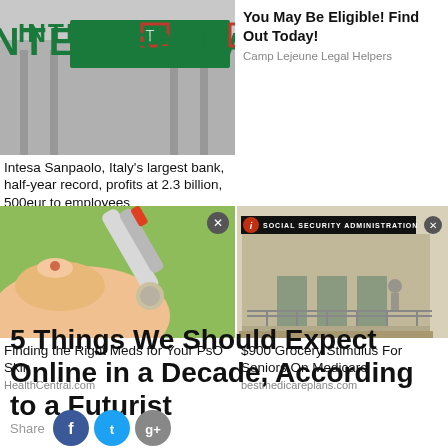[Figure (photo): Intesa Sanpaolo bank sign/building exterior, green lettering on grey background]
Intesa Sanpaolo, Italy's largest bank, half-year record, profits at 2.3 billion, 500eur to employees
World Medias
You May Be Eligible! Find Out Today!
Camp Lejeune Legal Helpers
[Figure (photo): Close-up of hands, finger being pricked for blood test, medicine tube, green background]
Finding the Right Meds for Your PsO Skin
HealthCentral.com
[Figure (photo): Social Security Administration building exterior with sign]
$900 Grocery Stimulus For Seniors On Medicare
bestmedicareplans.com
5 Things We Should Expect Online in a Decade, According to a Futurist
Share